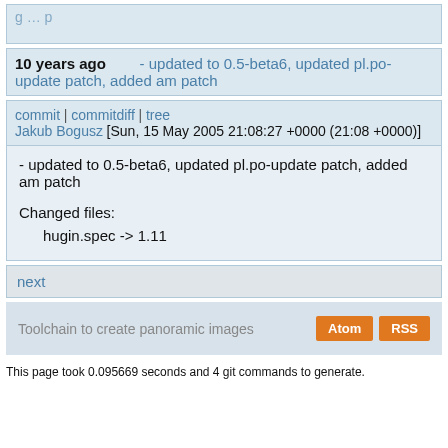g ... p
10 years ago - updated to 0.5-beta6, updated pl.po-update patch, added am patch
commit | commitdiff | tree
Jakub Bogusz [Sun, 15 May 2005 21:08:27 +0000 (21:08 +0000)]
- updated to 0.5-beta6, updated pl.po-update patch, added am patch

Changed files:
    hugin.spec -> 1.11
next
Toolchain to create panoramic images
This page took 0.095669 seconds and 4 git commands to generate.